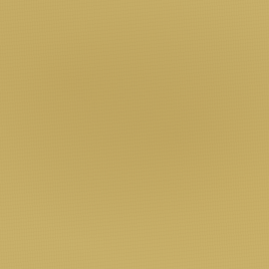Another new unit is the British... company Marconi as an export v... the Marksman to fit to the Chieft... the West German Gepard. It als...
The British also have the Sparta... APC for protection and mobility. ... the long range Rapier surface to...
To destroy tanks from the air the... the American TOW anti-tank gui... killer rule that allows it to use ter...
The final support unit is the Harr... Flight. The Harrier can take off fr... allowing them to operate from ca... This translates into them turning... 4+ when your role for Strike Airc... stationed closer to the front line. ... cluster bombs, giving them a Sa... bombardment, and a 30mm Ade...
Changes
A major change from Iron Maide... Force. Of course this is only if yo... Formations (see page 79 of Wom...